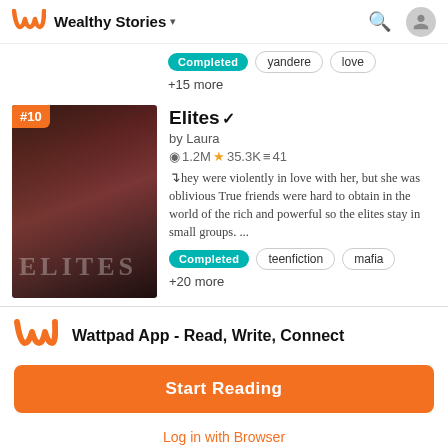Wealthy Stories
Completed  yandere  love  +15 more
Elites✔
by Laura
1.2M ★35.3K ≡41
They were violently in love with her, but she was oblivious True friends were hard to obtain in the world of the rich and powerful so the elites stay in small groups. ...
Completed  teenfiction  mafia  +20 more
[Figure (illustration): Book cover for 'Elites' showing a dark-toned image with the word ELITES in large letters, tagged #10]
Wattpad App - Read, Write, Connect
Start Reading
Log in with Browser